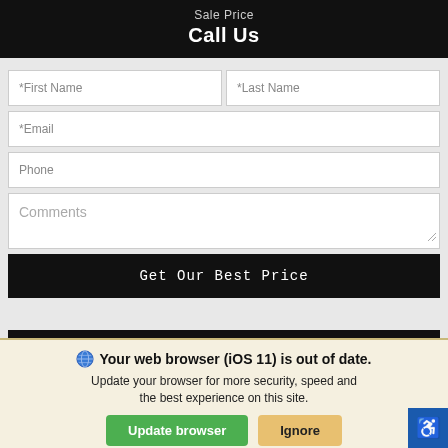Sale Price
Call Us
*First Name
*Last Name
*Email
Phone
Comments
Get Our Best Price
CALCULATE YOUR DEAL
We use cookies to optimize our website and our service.
Cookie Policy   Privacy Statement
Your web browser (iOS 11) is out of date. Update your browser for more security, speed and the best experience on this site.
Update browser
Ignore